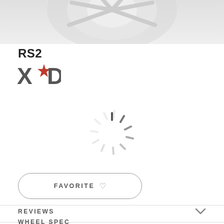[Figure (photo): Partial view of a white alloy wheel (RS2 by XD) shown cropped at the top of the page with light gray background]
RS2
[Figure (logo): XD brand logo with star replacing the letter A, dark gray color]
[Figure (other): Loading spinner animation, gray radial lines arranged in a circle indicating content is loading]
FAVORITE ♡
REVIEWS
WHEEL SPEC